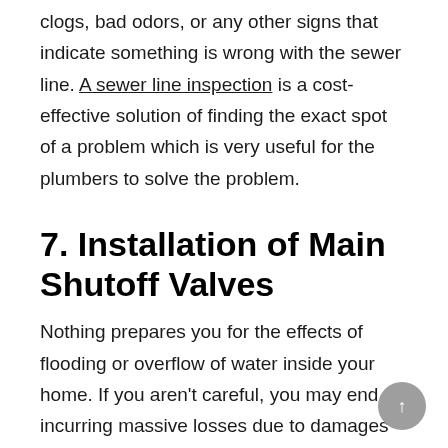clogs, bad odors, or any other signs that indicate something is wrong with the sewer line. A sewer line inspection is a cost-effective solution of finding the exact spot of a problem which is very useful for the plumbers to solve the problem.
7. Installation of Main Shutoff Valves
Nothing prepares you for the effects of flooding or overflow of water inside your home. If you aren't careful, you may end up incurring massive losses due to damages to your home and property. If you don't have a main shutoff valve